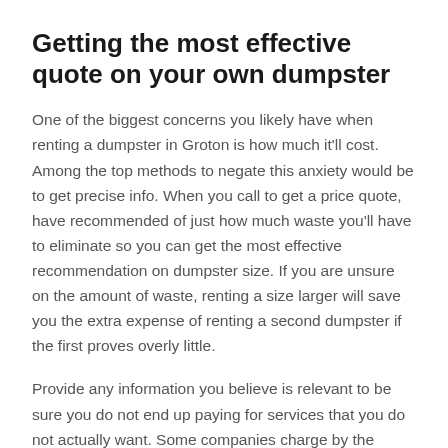Getting the most effective quote on your own dumpster
One of the biggest concerns you likely have when renting a dumpster in Groton is how much it'll cost. Among the top methods to negate this anxiety would be to get precise info. When you call to get a price quote, have recommended of just how much waste you'll have to eliminate so you can get the most effective recommendation on dumpster size. If you are unsure on the amount of waste, renting a size larger will save you the extra expense of renting a second dumpster if the first proves overly little.
Provide any information you believe is relevant to be sure you do not end up paying for services that you do not actually want. Some companies charge by the container size, while others charge by weight. Be sure you understand which is which so you have a clear quote. Also be sure to ask whether the quote you receive comprises landfill feesthis is going to keep you from being